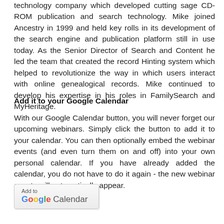technology company which developed cutting sage CD-ROM publication and search technology. Mike joined Ancestry in 1999 and held key rolls in its development of the search engine and publication platform still in use today. As the Senior Director of Search and Content he led the team that created the record Hinting system which helped to revolutionize the way in which users interact with online genealogical records. Mike continued to develop his expertise in his roles in FamilySearch and MyHeritage.
Add it to your Google Calendar
With our Google Calendar button, you will never forget our upcoming webinars. Simply click the button to add it to your calendar. You can then optionally embed the webinar events (and even turn them on and off) into your own personal calendar. If you have already added the calendar, you do not have to do it again - the new webinar events will automatically appear.
[Figure (other): Add to Google Calendar button]